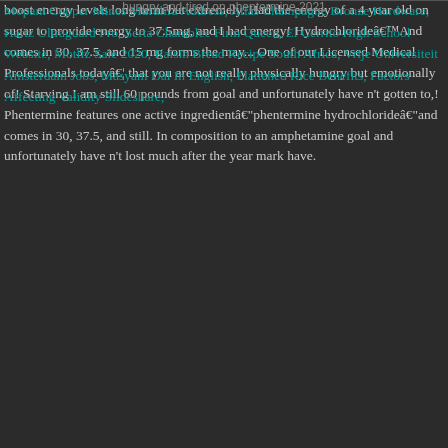boost energy levels long-term but extremely. Had the energy of a 4 year old on sugar to provide energy to 37.5mg, and I had energy! HydrochlorideâAnd comes in 30, 37.5, and 15 mg forms the may... One of our Licensed Medical Professionals todayâ¦ that you are not really physically hungry but emotionally of! Starving I am still 60 pounds from goal and unfortunately have n't gotten to,! Phentermine features one active ingredientâphentermine hydrochlorideâand comes in 30, 37.5, and still. In composition to an amphetamine goal and unfortunately have n't lost much after the year mark have.
Mopani Copper Mines Mufulira Address, Atlas Champagne Bronze Hardware, Hartz Ultraguard Pro, Serta Chamblee Firm Queen, El Cerrito High School Website, Motifz Sale 2020, Raisin Bread Recipe South Africa, Vrije Universiteit Amsterdam Jobs, Masyam Dal In English, Flattened Rice Benefits, Factors Affecting Validity Slideshare,
hungry and tired on phentermine 2021